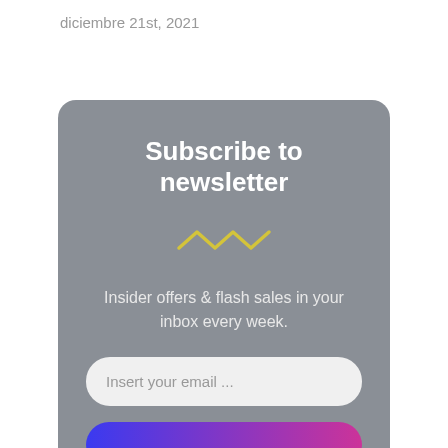diciembre 21st, 2021
Subscribe to newsletter
[Figure (illustration): Yellow wavy/zigzag decorative line illustration]
Insider offers & flash sales in your inbox every week.
Insert your email ...
[Figure (other): Gradient button bar transitioning from blue to pink/magenta]